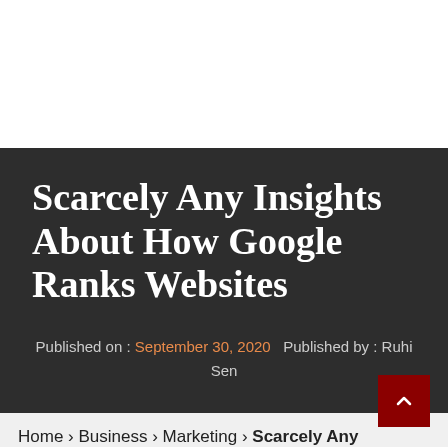Scarcely Any Insights About How Google Ranks Websites
Published on : September 30, 2020   Published by : Ruhi Sen
Home › Business › Marketing › Scarcely Any